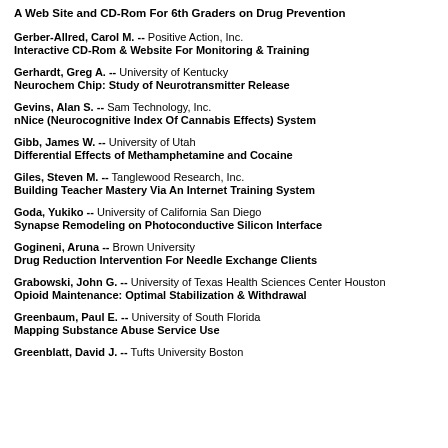A Web Site and CD-Rom For 6th Graders on Drug Prevention
Gerber-Allred, Carol M. -- Positive Action, Inc.
Interactive CD-Rom & Website For Monitoring & Training
Gerhardt, Greg A. -- University of Kentucky
Neurochem Chip: Study of Neurotransmitter Release
Gevins, Alan S. -- Sam Technology, Inc.
nNice (Neurocognitive Index Of Cannabis Effects) System
Gibb, James W. -- University of Utah
Differential Effects of Methamphetamine and Cocaine
Giles, Steven M. -- Tanglewood Research, Inc.
Building Teacher Mastery Via An Internet Training System
Goda, Yukiko -- University of California San Diego
Synapse Remodeling on Photoconductive Silicon Interface
Gogineni, Aruna -- Brown University
Drug Reduction Intervention For Needle Exchange Clients
Grabowski, John G. -- University of Texas Health Sciences Center Houston
Opioid Maintenance: Optimal Stabilization & Withdrawal
Greenbaum, Paul E. -- University of South Florida
Mapping Substance Abuse Service Use
Greenblatt, David J. -- Tufts University Boston